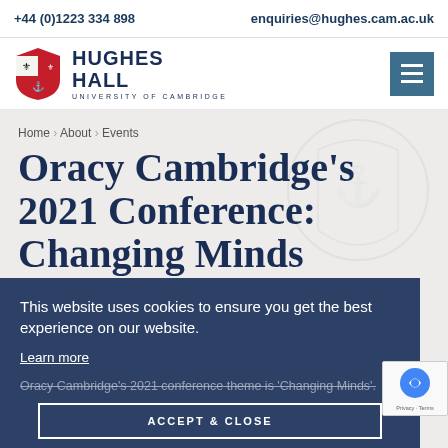+44 (0)1223 334 898   enquiries@hughes.cam.ac.uk
[Figure (logo): Hughes Hall University of Cambridge logo with shield crest and hamburger menu icon]
Home > About > Events
Oracy Cambridge’s 2021 Conference: Changing Minds
This website uses cookies to ensure you get the best experience on our website.
Learn more
Oracy Cambridge’s 2021 conference theme is ‘Changing Minds’.
ACCEPT & CLOSE
Hosted online, and open to all, the focus of this year’s